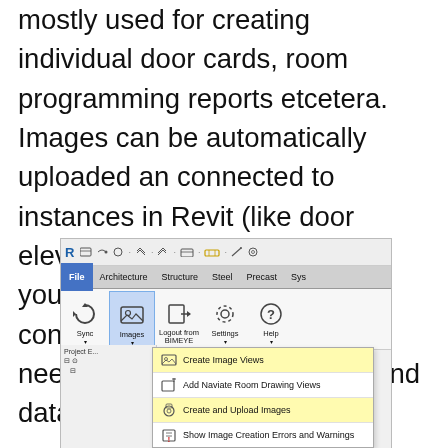mostly used for creating individual door cards, room programming reports etcetera. Images can be automatically uploaded an connected to instances in Revit (like door elevations, room drawings) or you can manually upload and connect any images that is needed to present the object and data in a report.
[Figure (screenshot): Screenshot of Revit ribbon showing the BIMEYE plugin tab with buttons: Sync, Images (active/highlighted), Logout from BIMEYE, Settings, Help. A dropdown menu under Images shows: Create Image Views (yellow highlight), Add Naviate Room Drawing Views, Create and Upload Images (yellow highlight), Show Image Creation Errors and Warnings.]